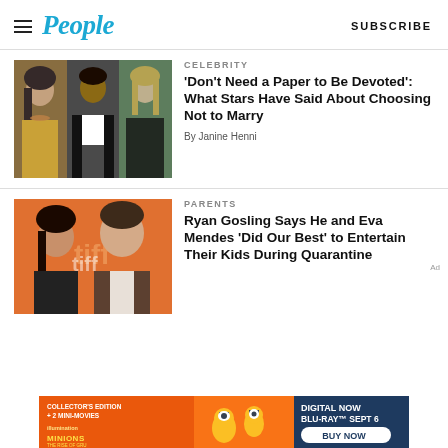People | SUBSCRIBE
[Figure (photo): Three celebrities side by side: woman in yellow dress, man in tuxedo, woman in black outfit]
CELEBRITY
'Don't Need a Paper to Be Devoted': What Stars Have Said About Choosing Not to Marry
By Janine Henni
[Figure (photo): Eva Mendes and Ryan Gosling at TIFF event]
PARENTS
Ryan Gosling Says He and Eva Mendes 'Did Our Best' to Entertain Their Kids During Quarantine
[Figure (other): Minions: The Rise of Gru advertisement banner - Collector's Edition + 2 Mini-Movies, Digital Now, Blu-Ray Sept 6, Buy Now]